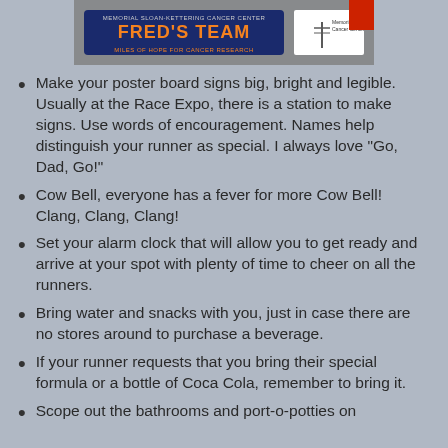[Figure (photo): Fred's Team - Memorial Sloan-Kettering Cancer Center banner image showing 'Miles of Hope for Cancer Research']
Make your poster board signs big, bright and legible. Usually at the Race Expo, there is a station to make signs. Use words of encouragement. Names help distinguish your runner as special. I always love “Go, Dad, Go!”
Cow Bell, everyone has a fever for more Cow Bell! Clang, Clang, Clang!
Set your alarm clock that will allow you to get ready and arrive at your spot with plenty of time to cheer on all the runners.
Bring water and snacks with you, just in case there are no stores around to purchase a beverage.
If your runner requests that you bring their special formula or a bottle of Coca Cola, remember to bring it.
Scope out the bathrooms and port-o-potties on